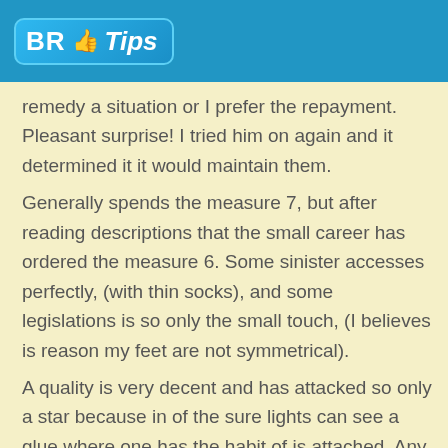BR Tips
remedy a situation or I prefer the repayment. Pleasant surprise! I tried him on again and it determined it it would maintain them.
Generally spends the measure 7, but after reading descriptions that the small career has ordered the measure 6. Some sinister accesses perfectly, (with thin socks), and some legislations is so only the small touch, (I believes is reason my feet are not symmetrical).
A quality is very decent and has attacked so only a star because in of the sure lights can see a glue where one has the habit of is attached. Any big shot this in spite of.